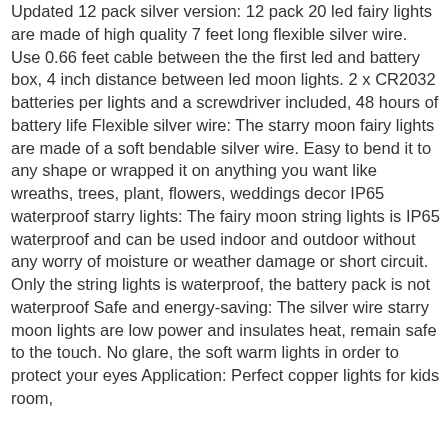Updated 12 pack silver version: 12 pack 20 led fairy lights are made of high quality 7 feet long flexible silver wire. Use 0.66 feet cable between the the first led and battery box, 4 inch distance between led moon lights. 2 x CR2032 batteries per lights and a screwdriver included, 48 hours of battery life Flexible silver wire: The starry moon fairy lights are made of a soft bendable silver wire. Easy to bend it to any shape or wrapped it on anything you want like wreaths, trees, plant, flowers, weddings decor IP65 waterproof starry lights: The fairy moon string lights is IP65 waterproof and can be used indoor and outdoor without any worry of moisture or weather damage or short circuit. Only the string lights is waterproof, the battery pack is not waterproof Safe and energy-saving: The silver wire starry moon lights are low power and insulates heat, remain safe to the touch. No glare, the soft warm lights in order to protect your eyes Application: Perfect copper lights for kids room,